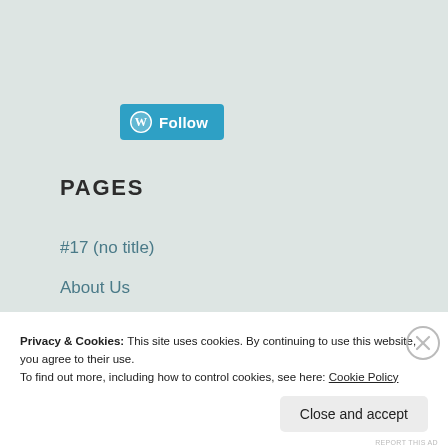[Figure (logo): WordPress Follow button with W logo in blue/teal rounded rectangle]
PAGES
#17 (no title)
About Us
Activities
Artarmon Railway Station
Artisans
Artistic Voices
Artistic Voices
Privacy & Cookies: This site uses cookies. By continuing to use this website, you agree to their use.
To find out more, including how to control cookies, see here: Cookie Policy
Close and accept